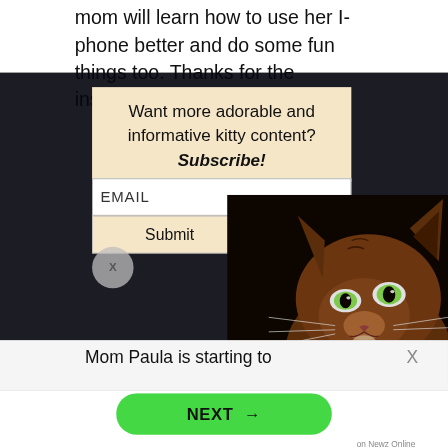mom will learn how to use her I-phone better and do some fun things too. Thanks for the inspiration Sparkle! Marty
Want more adorable and informative kitty content? Subscribe!
EMAIL
Submit
[Figure (photo): A brown Somali/Abyssinian cat with bright green eyes looking upward, photographed against a dark background.]
X
Mom Paula is starting to
X
NEXT →
on Newz Online